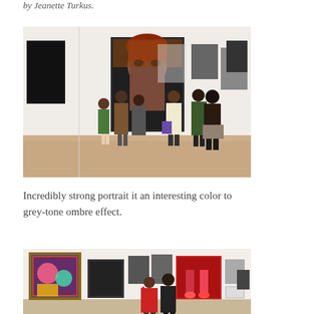by Jeanette Turkus.
[Figure (photo): Gallery visitors viewing large portrait photographs hanging on white walls. Multiple people stand in groups looking at the artwork. A large dramatic black-and-white portrait of a woman dominates the center of the wall.]
Incredibly strong portrait it an interesting color to grey-tone ombre effect.
[Figure (photo): Gallery interior with colorful paintings hung on white walls. Two visitors, one in a red jacket, stand looking at artwork. Various framed paintings of different sizes are visible.]